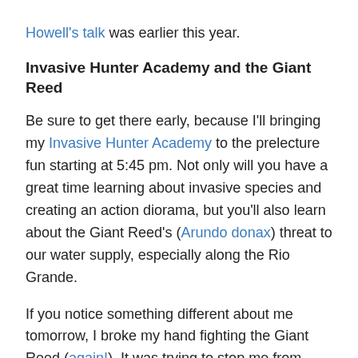Howell's talk was earlier this year.
Invasive Hunter Academy and the Giant Reed
Be sure to get there early, because I'll bringing my Invasive Hunter Academy to the prelecture fun starting at 5:45 pm. Not only will you have a great time learning about invasive species and creating an action diorama, but you'll also learn about the Giant Reed's (Arundo donax) threat to our water supply, especially along the Rio Grande.
If you notice something different about me tomorrow, I broke my hand fighting the Giant Reed (again!). It was trying to stop me from presenting at Hot Science – Cool Talks, but it'll take more than a few moves from an invasive plant (and one of the world's top 100 worst